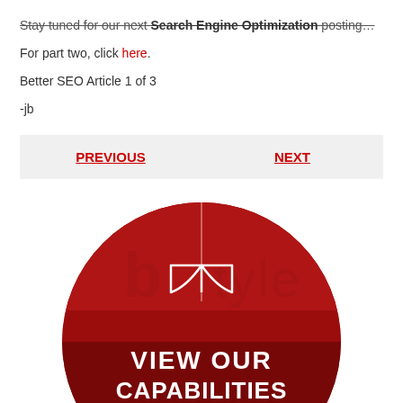Stay tuned for our next Search Engine Optimization posting…
For part two, click here.
Better SEO Article 1 of 3
-jb
PREVIOUS
NEXT
[Figure (illustration): Red circle promotional graphic with open book icon, 'b | tyler' text watermark in background, and white bold text reading 'VIEW OUR CAPABILITIES BROCHURE']